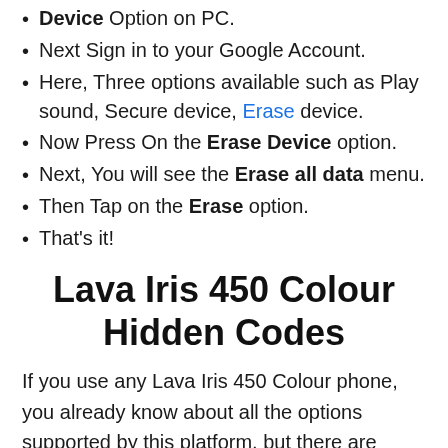Device Option on PC. (partial, top of page)
Next Sign in to your Google Account.
Here, Three options available such as Play sound, Secure device, Erase device.
Now Press On the Erase Device option.
Next, You will see the Erase all data menu.
Then Tap on the Erase option.
That's it!
Lava Iris 450 Colour Hidden Codes
If you use any Lava Iris 450 Colour phone, you already know about all the options supported by this platform, but there are some tricks you may not know. Here, follow some steps to go.